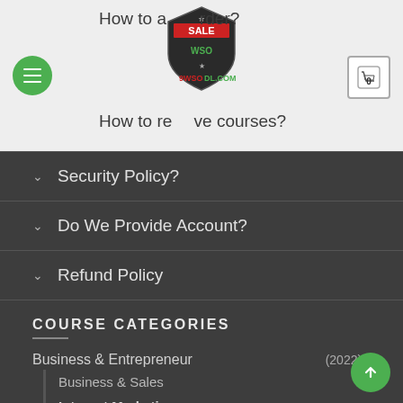How to add order? | How to receive courses?
[Figure (logo): 9WSODL.COM logo with SALE WSO shield badge and green/red text]
Security Policy?
Do We Provide Account?
Refund Policy
COURSE CATEGORIES
Business & Entrepreneur (2022)
Business & Sales
Internet Marketing